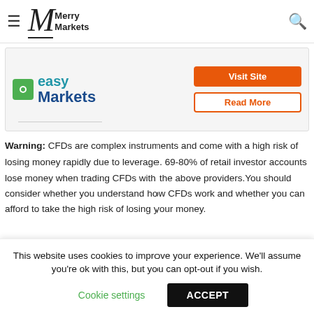Merry Markets
[Figure (logo): easyMarkets logo with green icon and blue text]
Visit Site
Read More
Warning: CFDs are complex instruments and come with a high risk of losing money rapidly due to leverage. 69-80% of retail investor accounts lose money when trading CFDs with the above providers. You should consider whether you understand how CFDs work and whether you can afford to take the high risk of losing your money.
This website uses cookies to improve your experience. We'll assume you're ok with this, but you can opt-out if you wish.
Cookie settings
ACCEPT